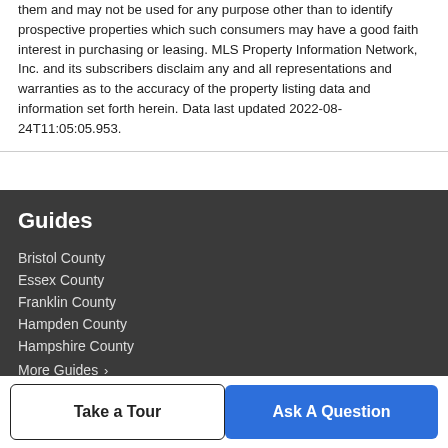them and may not be used for any purpose other than to identify prospective properties which such consumers may have a good faith interest in purchasing or leasing. MLS Property Information Network, Inc. and its subscribers disclaim any and all representations and warranties as to the accuracy of the property listing data and information set forth herein. Data last updated 2022-08-24T11:05:05.953.
Guides
Bristol County
Essex County
Franklin County
Hampden County
Hampshire County
More Guides ›
Company
Take a Tour
Ask A Question